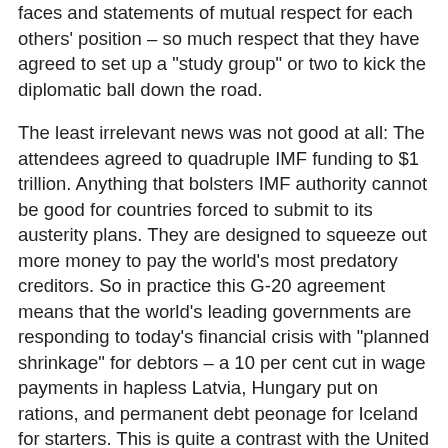faces and statements of mutual respect for each others' position – so much respect that they have agreed to set up a "study group" or two to kick the diplomatic ball down the road.
The least irrelevant news was not good at all: The attendees agreed to quadruple IMF funding to $1 trillion. Anything that bolsters IMF authority cannot be good for countries forced to submit to its austerity plans. They are designed to squeeze out more money to pay the world's most predatory creditors. So in practice this G-20 agreement means that the world's leading governments are responding to today's financial crisis with "planned shrinkage" for debtors – a 10 per cent cut in wage payments in hapless Latvia, Hungary put on rations, and permanent debt peonage for Iceland for starters. This is quite a contrast with the United States, which is responding to the downturn with a giant Keynesian deficit spending program, despite its glaringly unpayable $4 trillion debt to foreign